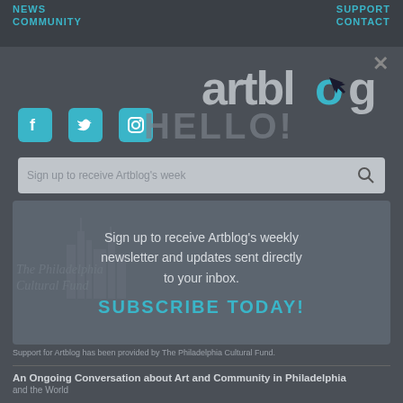NEWS | COMMUNITY | SUPPORT | CONTACT
[Figure (logo): Artblog website logo with teal accent on the letter 'o']
×
[Figure (infographic): Social media icons: Facebook, Twitter, Instagram in teal rounded squares]
HELLO!
Sign up to receive Artblog's weekly newsletter and updates sent directly to your inbox.
[Figure (logo): The Philadelphia Cultural Fund logo with city skyline silhouette]
SUBSCRIBE TODAY!
Support for Artblog has been provided by The Philadelphia Cultural Fund.
An Ongoing Conversation about Art and Community in Philadelphia and the World